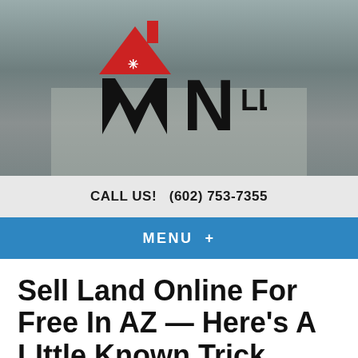[Figure (screenshot): Website header with house photo background and WIN LLC logo (red and black house/W logo with LLC text)]
CALL US!   (602) 753-7355
MENU  +
Sell Land Online For Free In AZ — Here's A LIttle Known Trick
June 12, 2018
By Elijah Rubin